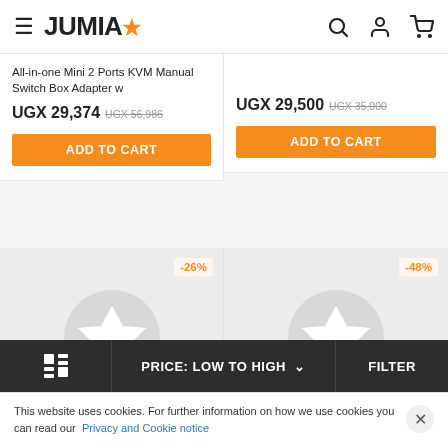JUMIA
All-in-one Mini 2 Ports KVM Manual Switch Box Adapter w
UGX 29,374  UGX 56,986
ADD TO CART
UGX 29,500  UGX 35,000
ADD TO CART
[Figure (other): Product image placeholder with Jumia star icon, -26% discount badge]
[Figure (other): Product image placeholder with Jumia star icon, -48% discount badge]
PRICE: LOW TO HIGH  FILTER
This website uses cookies. For further information on how we use cookies you can read our Privacy and Cookie notice